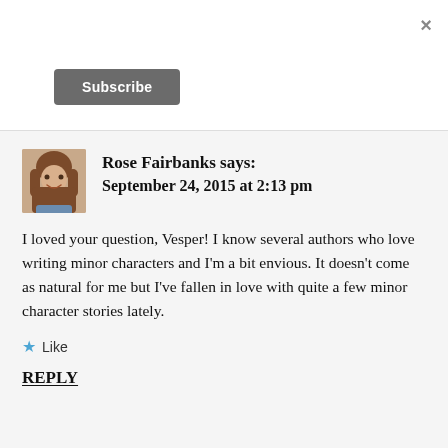[Figure (other): Close button (×) in top right corner]
Subscribe
[Figure (photo): Avatar photo of Rose Fairbanks, a woman with brown hair smiling]
Rose Fairbanks says:
September 24, 2015 at 2:13 pm
I loved your question, Vesper! I know several authors who love writing minor characters and I'm a bit envious. It doesn't come as natural for me but I've fallen in love with quite a few minor character stories lately.
★ Like
REPLY